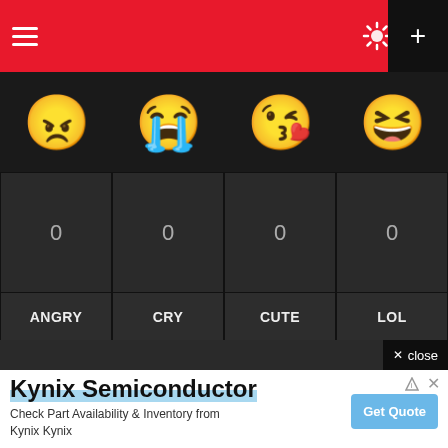[Figure (screenshot): Mobile app top navigation bar with red background, hamburger menu icon on left, sun and user profile icons in center-right, and a black plus button on the far right]
[Figure (infographic): Emoji reaction grid showing 4 emojis in top row (angry, cry, cute/kiss, lol/laughing), counter cells showing 0 for each, labels ANGRY, CRY, CUTE, LOL, then a second partial row with love-eyes, shocked, and neutral face emojis]
[Figure (screenshot): Advertisement banner for Kynix Semiconductor with text 'Check Part Availability & Inventory from Kynix Kynix' and a Get Quote button]